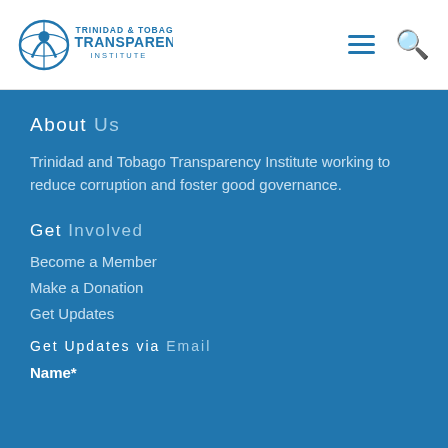[Figure (logo): Trinidad & Tobago Transparency Institute logo with circular icon and text]
About Us
Trinidad and Tobago Transparency Institute working to reduce corruption and foster good governance.
Get Involved
Become a Member
Make a Donation
Get Updates
Get Updates via Email
Name*